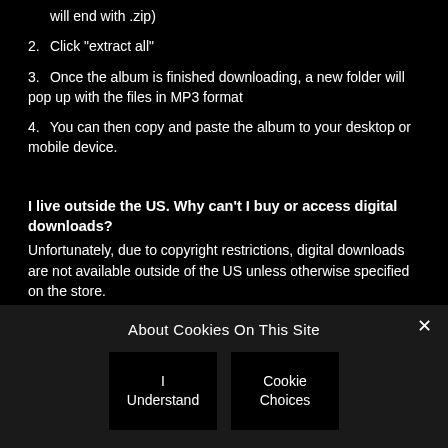will end with .zip)
2. Click "extract all"
3. Once the album is finished downloading, a new folder will pop up with the files in MP3 format
4. You can then copy and paste the album to your desktop or mobile device.
I live outside the US. Why can't I buy or access digital downloads?
Unfortunately, due to copyright restrictions, digital downloads are not available outside of the US unless otherwise specified on the store.
About Cookies On This Site
I Understand
Cookie Choices